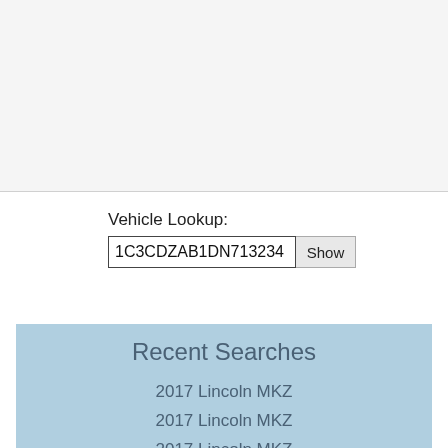[Figure (other): Advertisement banner area with light gray background]
Vehicle Lookup:
1C3CDZAB1DN713234
Recent Searches
2017 Lincoln MKZ
2017 Lincoln MKZ
2017 Lincoln MKZ
2017 Lincoln MKZ